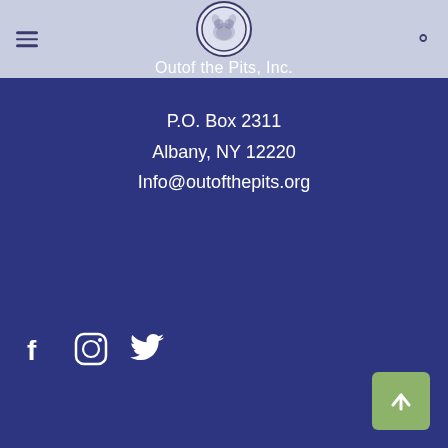Out of the Pits, Inc.
P.O. Box 2311
Albany, NY 12220
Info@outofthepits.org
[Figure (illustration): Social media icons: Facebook (f), Instagram (camera), Twitter (bird)]